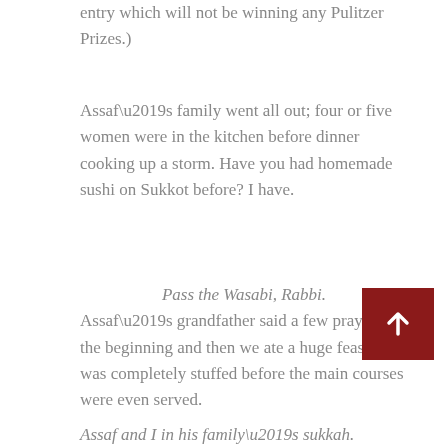entry which will not be winning any Pulitzer Prizes.)
Assaf’s family went all out; four or five women were in the kitchen before dinner cooking up a storm. Have you had homemade sushi on Sukkot before? I have.
Pass the Wasabi, Rabbi.
Assaf’s grandfather said a few prayers at the beginning and then we ate a huge feast. I was completely stuffed before the main courses were even served.
Assaf and I in his family’s sukkah. Can’t we